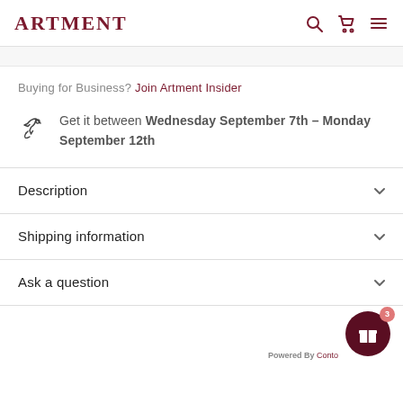ARTMENT
Buying for Business? Join Artment Insider
Get it between Wednesday September 7th – Monday September 12th
Description
Shipping information
Ask a question
Powered By Conto